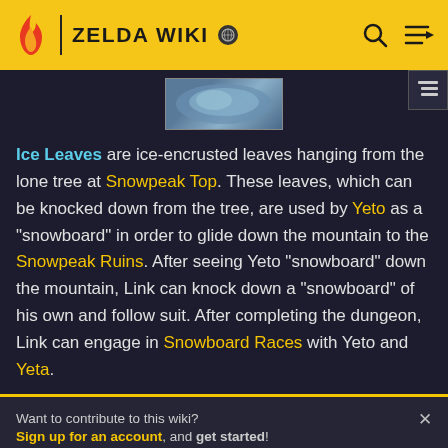ZELDA WIKI
[Figure (photo): Partial image of an item or character from Zelda game, showing a blue-gray object against a dark bordered background]
Ice Leaves are ice-encrusted leaves hanging from the lone tree at Snowpeak Top. These leaves, which can be knocked down from the tree, are used by Yeto as a "snowboard" in order to glide down the mountain to the Snowpeak Ruins. After seeing Yeto "snowboard" down the mountain, Link can knock down a "snowboard" of his own and follow suit. After completing the dungeon, Link can engage in Snowboard Races with Yeto and Yeta.
Want to contribute to this wiki? Sign up for an account, and get started! Come join the Zelda Wiki community Discord server!